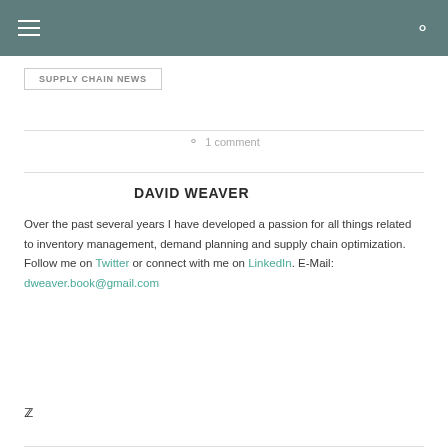Navigation bar with hamburger menu and search icon
SUPPLY CHAIN NEWS
1 comment
DAVID WEAVER
Over the past several years I have developed a passion for all things related to inventory management, demand planning and supply chain optimization. Follow me on Twitter or connect with me on LinkedIn. E-Mail: dweaver.book@gmail.com